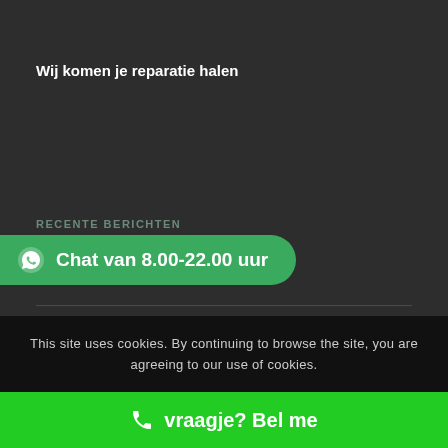Wij komen je reparatie halen
RECENTE BERICHTEN
[Figure (other): Green WhatsApp chat button with text 'Chat van 8.00-22.00 uur']
Covid-19 Maatregelen
Waarom alleen originele kabels Iphone?
This site uses cookies. By continuing to browse the site, you are agreeing to our use of cookies.
vraagje? Bel me